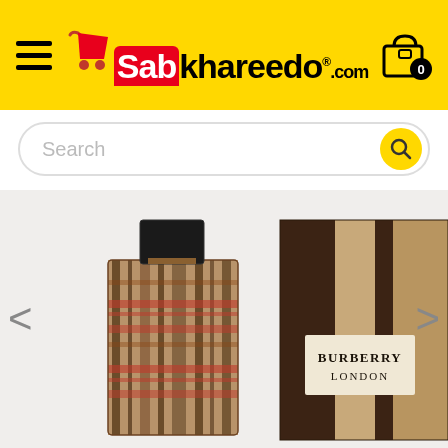[Figure (screenshot): SabKhareedo.com e-commerce website header with yellow background, hamburger menu on left, logo in center, cart icon with 0 badge on right, search bar below, and Burberry London perfume product image]
[Figure (photo): Burberry London perfume bottle and box. The bottle has a black cap and Burberry classic plaid pattern in brown, beige, and red. The box shows the iconic Burberry stripe pattern in dark brown and tan with a label reading BURBERRY LONDON.]